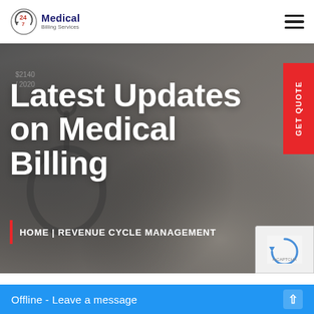[Figure (logo): 24/7 Medical Billing Services logo with circular arrow icon, red and navy text]
[Figure (illustration): Hamburger/menu icon with three horizontal bars]
[Figure (photo): Hero banner with blurred medical background showing stethoscope and medical items, overlaid with dark gray tint]
Latest Updates on Medical Billing
[Figure (other): Red vertical GET QUOTE tab on right side of hero]
HOME | REVENUE CYCLE MANAGEMENT
Offline - Leave a message